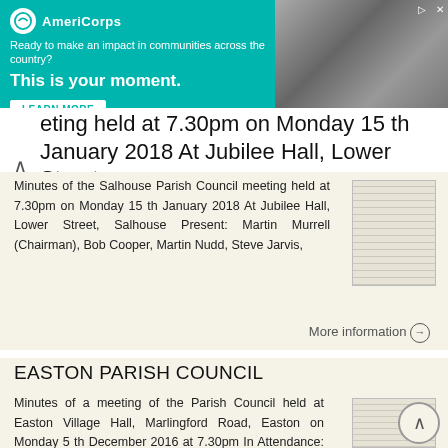[Figure (screenshot): AmeriCorps advertisement banner in teal/green color. Logo with white circle, brand name 'AmeriCorps'. Tagline: 'Ready to make an impact in communities across the country?' Headline: 'This is your moment.' CTA button: 'LEARN MORE'. Photo of a person on the right side.]
eting held at 7.30pm on Monday 15 th January 2018 At Jubilee Hall, Lower Street,
Minutes of the Salhouse Parish Council meeting held at 7.30pm on Monday 15 th January 2018 At Jubilee Hall, Lower Street, Salhouse Present: Martin Murrell (Chairman), Bob Cooper, Martin Nudd, Steve Jarvis,
More information →
EASTON PARISH COUNCIL
Minutes of a meeting of the Parish Council held at Easton Village Hall, Marlingford Road, Easton on Monday 5 th December 2016 at 7.30pm In Attendance: Mr Peter Milliken (Chairman) PM Mrs Jan Hudson (Vice-Chairman)